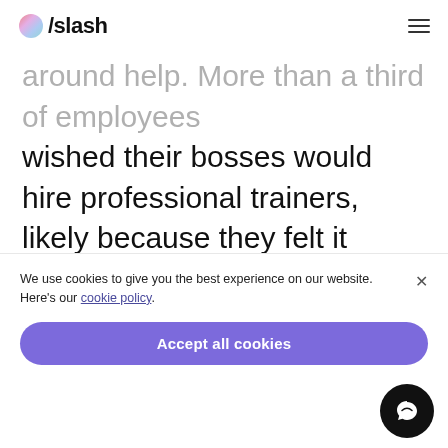/slash
wished their bosses would hire professional trainers, likely because they felt it shouldn't be up to them to train their co-workers.
Summary
Though we have a lot to thank technology for, many people dread having to teach
We use cookies to give you the best experience on our website. Here's our cookie policy.
Accept all cookies